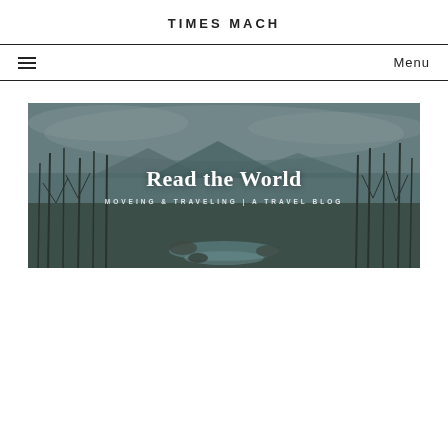TIMES MACH
☰  Menu
[Figure (photo): A moody landscape photo of a wetland or forest scene with bare trees, overcast sky, mountains in the background, and a small stream in the foreground. The image has a muted, dark teal/grey tone. Overlaid text reads 'Read the World' and 'MOVEING & TRAVELING | A TRAVEL BLOG'.]